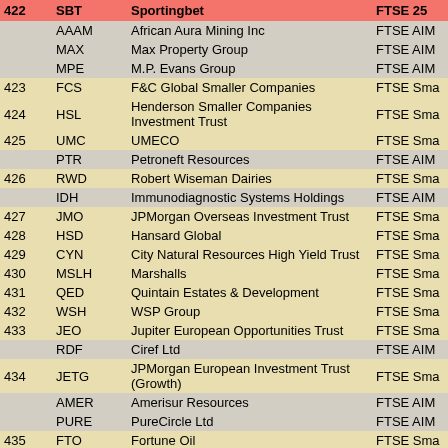| 422 | SBT | Sportingbet | FTSE 25 |
| --- | --- | --- | --- |
|  | AAAM | African Aura Mining Inc | FTSE AIM |
|  | MAX | Max Property Group | FTSE AIM |
|  | MPE | M.P. Evans Group | FTSE AIM |
| 423 | FCS | F&C Global Smaller Companies | FTSE Sma |
| 424 | HSL | Henderson Smaller Companies Investment Trust | FTSE Sma |
| 425 | UMC | UMECO | FTSE Sma |
|  | PTR | Petroneft Resources | FTSE AIM |
| 426 | RWD | Robert Wiseman Dairies | FTSE Sma |
|  | IDH | Immunodiagnostic Systems Holdings | FTSE AIM |
| 427 | JMO | JPMorgan Overseas Investment Trust | FTSE Sma |
| 428 | HSD | Hansard Global | FTSE Sma |
| 429 | CYN | City Natural Resources High Yield Trust | FTSE Sma |
| 430 | MSLH | Marshalls | FTSE Sma |
| 431 | QED | Quintain Estates & Development | FTSE Sma |
| 432 | WSH | WSP Group | FTSE Sma |
| 433 | JEO | Jupiter European Opportunities Trust | FTSE Sma |
|  | RDF | Ciref Ltd | FTSE AIM |
| 434 | JETG | JPMorgan European Investment Trust (Growth) | FTSE Sma |
|  | AMER | Amerisur Resources | FTSE AIM |
|  | PURE | PureCircle Ltd | FTSE AIM |
| 435 | FTO | Fortune Oil | FTSE Sma |
|  | MATD | Petro Matad Ltd | FTSE AIM |
| 436 | SFR | Severfield-Rowen | FTSE Sma |
|  | NCCL | Ncondezi Coal Company Ltd | FTSE AIM |
|  | HMY | Hamworthy | FTSE AIM |
| 437 | LWI | Lowland Investment Co | FTSE Sma |
| 438 | TRG | TR European Growth Trust | FTSE Sma |